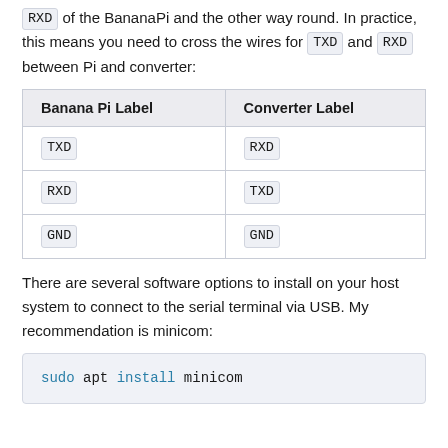of the BananaPi and the other way round. In practice, this means you need to cross the wires for TXD and RXD between Pi and converter:
| Banana Pi Label | Converter Label |
| --- | --- |
| TXD | RXD |
| RXD | TXD |
| GND | GND |
There are several software options to install on your host system to connect to the serial terminal via USB. My recommendation is minicom:
sudo apt install minicom